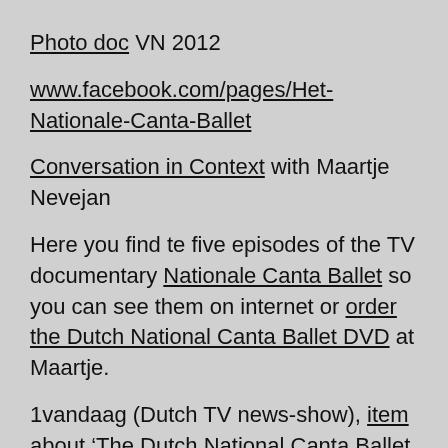Photo doc VN 2012
www.facebook.com/pages/Het-Nationale-Canta-Ballet
Conversation in Context with Maartje Nevejan
Here you find te five episodes of the TV documentary Nationale Canta Ballet so you can see them on internet or order the Dutch National Canta Ballet DVD at Maartje.
1vandaag (Dutch TV news-show), item about ‘The Dutch National Canta Ballet
The National Canta Ballet: double pas-de-